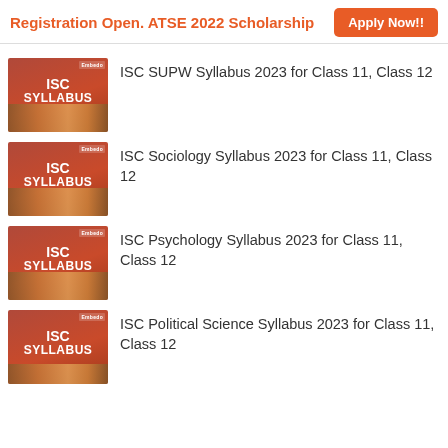Registration Open. ATSE 2022 Scholarship   Apply Now!!
ISC SUPW Syllabus 2023 for Class 11, Class 12
ISC Sociology Syllabus 2023 for Class 11, Class 12
ISC Psychology Syllabus 2023 for Class 11, Class 12
ISC Political Science Syllabus 2023 for Class 11, Class 12